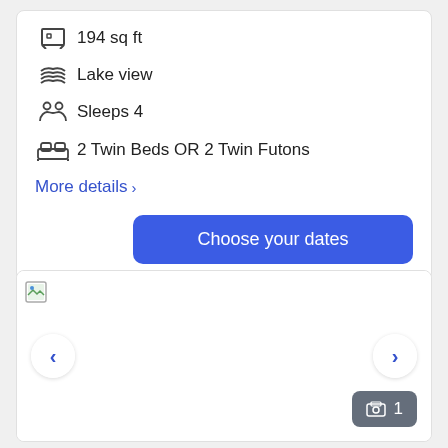194 sq ft
Lake view
Sleeps 4
2 Twin Beds OR 2 Twin Futons
More details >
Choose your dates
[Figure (photo): Hotel room image placeholder (broken image icon visible). Navigation arrows on left and right, photo counter badge showing 1 in bottom right.]